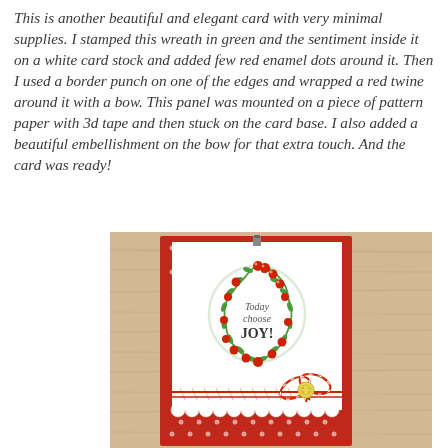This is another beautiful and elegant card with very minimal supplies. I stamped this wreath in green and the sentiment inside it on a white card stock and added few red enamel dots around it. Then I used a border punch on one of the edges and wrapped a red twine around it with a bow. This panel was mounted on a piece of pattern paper with 3d tape and then stuck on the card base. I also added a beautiful embellishment on the bow for that extra touch. And the card was ready!
[Figure (photo): A handmade Christmas card featuring a green wreath with red berries stamped on white card stock, with the text 'Today choose JOY!' inside the wreath. The white panel has a scalloped border punch along the bottom edge with red and white twine wrapped around it and tied in a bow with a yellow button embellishment. The panel is mounted on red polka dot patterned paper, which sits on a light wood background.]